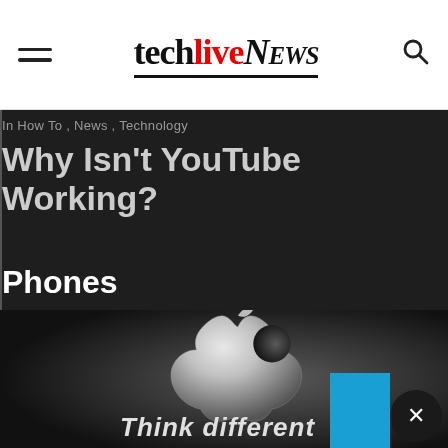techlivenews
In How To , News , Technology
Why Isn't YouTube Working?
Phones
[Figure (photo): Apple logo 3D render on dark background with 'Think different' text below, Apple branding photo]